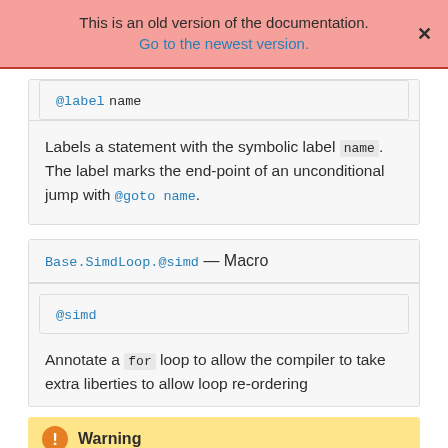This is an old version of the documentation.
Go to the newest version.
@label name
Labels a statement with the symbolic label name. The label marks the end-point of an unconditional jump with @goto name.
Base.SimdLoop.@simd — Macro
@simd
Annotate a for loop to allow the compiler to take extra liberties to allow loop re-ordering
Warning